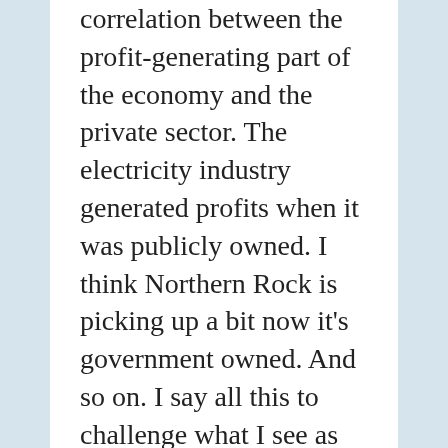correlation between the profit-generating part of the economy and the private sector. The electricity industry generated profits when it was publicly owned. I think Northern Rock is picking up a bit now it's government owned. And so on. I say all this to challenge what I see as your simplistic black-and-white idea that we have this wonderful private sector sweating away in total altruism and